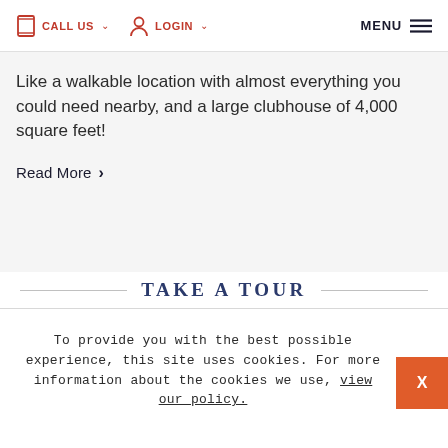CALL US  LOGIN  MENU
Like a walkable location with almost everything you could need nearby, and a large clubhouse of 4,000 square feet!
Read More
TAKE A TOUR
To provide you with the best possible experience, this site uses cookies. For more information about the cookies we use, view our policy.